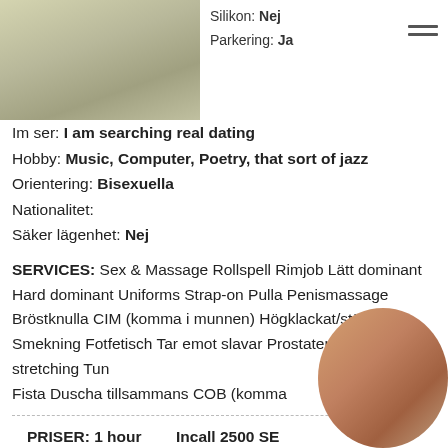[Figure (photo): Partial photo of fabric/clothing on left side]
Silikon: Nej
Parkering: Ja
Im ser: I am searching real dating
Hobby: Music, Computer, Poetry, that sort of jazz
Orientering: Bisexuella
Nationalitet:
Säker lägenhet: Nej
SERVICES: Sex & Massage Rollspell Rimjob Lätt dominant Hard dominant Uniforms Strap-on Pulla Penismassage Bröstknulla CIM (komma i munnen) Högklackat/stövlar Smekning Fotfetisch Tar emot slavar Prostatemassage Anal stretching Tun Fista Duscha tillsammans COB (komma
PRISER: 1 hour    Incall 2500 SEK
Outcall 2500+ Outcall travel fee(taxi) SEK
[Figure (photo): Partial body photo bottom right]